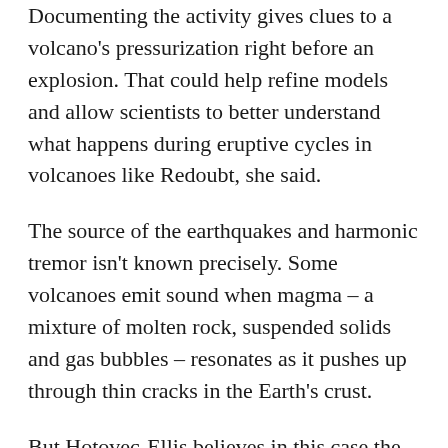Documenting the activity gives clues to a volcano's pressurization right before an explosion. That could help refine models and allow scientists to better understand what happens during eruptive cycles in volcanoes like Redoubt, she said.
The source of the earthquakes and harmonic tremor isn't known precisely. Some volcanoes emit sound when magma – a mixture of molten rock, suspended solids and gas bubbles – resonates as it pushes up through thin cracks in the Earth's crust.
But Hotovec-Ellis believes in this case the earthquakes and harmonic tremor happen as magma is forced through a narrow conduit under great pressure into the heart of the mountain. The thick magma sticks to the rock surface inside the